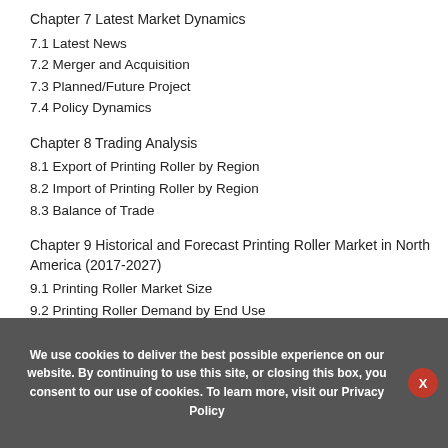Chapter 7 Latest Market Dynamics
7.1 Latest News
7.2 Merger and Acquisition
7.3 Planned/Future Project
7.4 Policy Dynamics
Chapter 8 Trading Analysis
8.1 Export of Printing Roller by Region
8.2 Import of Printing Roller by Region
8.3 Balance of Trade
Chapter 9 Historical and Forecast Printing Roller Market in North America (2017-2027)
9.1 Printing Roller Market Size
9.2 Printing Roller Demand by End Use
9.3 Competition by Players/Suppliers
9.4 Type Segmentation and Price
9.5 Key Countries Analysis
9.5.1 United States
We use cookies to deliver the best possible experience on our website. By continuing to use this site, or closing this box, you consent to our use of cookies. To learn more, visit our Privacy Policy